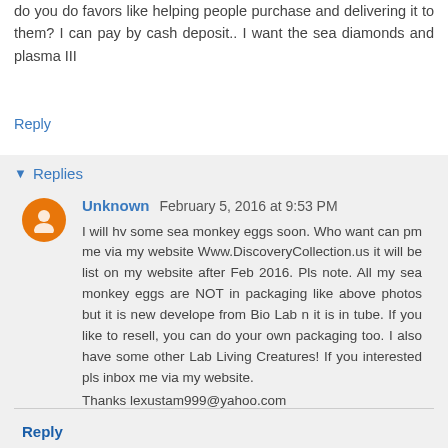do you do favors like helping people purchase and delivering it to them? I can pay by cash deposit.. I want the sea diamonds and plasma III
Reply
Replies
Unknown  February 5, 2016 at 9:53 PM
I will hv some sea monkey eggs soon. Who want can pm me via my website Www.DiscoveryCollection.us it will be list on my website after Feb 2016. Pls note. All my sea monkey eggs are NOT in packaging like above photos but it is new develope from Bio Lab n it is in tube. If you like to resell, you can do your own packaging too. I also have some other Lab Living Creatures! If you interested pls inbox me via my website.
Thanks lexustam999@yahoo.com
Reply